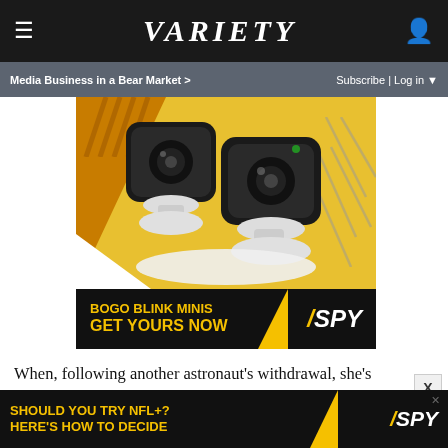≡  VARIETY  👤
Media Business in a Bear Market >   Subscribe | Log in ▼
[Figure (photo): Advertisement for BOGO Blink Minis security cameras with yellow background. Text reads 'BOGO BLINK MINIS GET YOURS NOW' with SPY logo on black banner at bottom.]
When, following another astronaut's withdrawal, she's suddenly, unexpectedly offered a place on the European Space Agency's Mars probe, Sarah accepts without hesitation — despite the fact that it will entail a year-long separation from Stella.
[Figure (photo): Advertisement: 'SHOULD YOU TRY NFL+? HERE'S HOW TO DECIDE' with SPY logo on black background.]